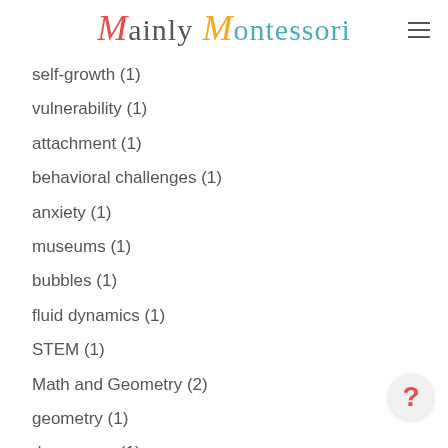Mainly Montessori
self-growth (1)
vulnerability (1)
attachment (1)
behavioral challenges (1)
anxiety (1)
museums (1)
bubbles (1)
fluid dynamics (1)
STEM (1)
Math and Geometry (2)
geometry (1)
democracy (1)